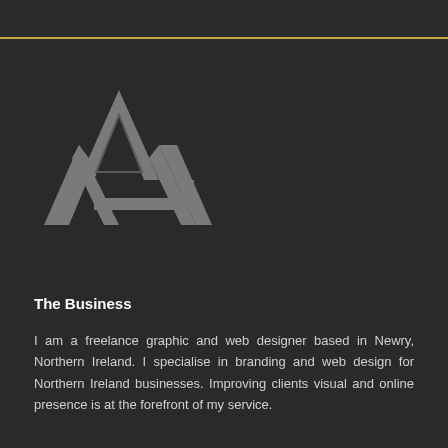[Figure (logo): Geometric mountain/letter M and G logo in gray on dark background]
The Business
I am a freelance graphic and web designer based in Newry, Northern Ireland. I specialise in branding and web design for Northern Ireland businesses. Improving clients visual and online presence is at the forefront of my service.